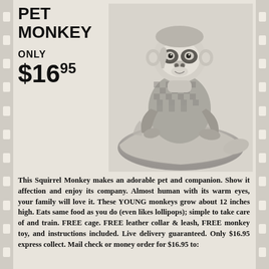DARLING PET MONKEY
ONLY $16.95
[Figure (photo): A small squirrel monkey dressed in a checkered outfit sitting on an outstretched human hand, shown in black and white halftone print.]
This Squirrel Monkey makes an adorable pet and companion. Show it affection and enjoy its company. Almost human with its warm eyes, your family will love it. These YOUNG monkeys grow about 12 inches high. Eats same food as you do (even likes lollipops); simple to take care of and train. FREE cage. FREE leather collar & leash, FREE monkey toy, and instructions included. Live delivery guaranteed. Only $16.95 express collect. Mail check or money order for $16.95 to: